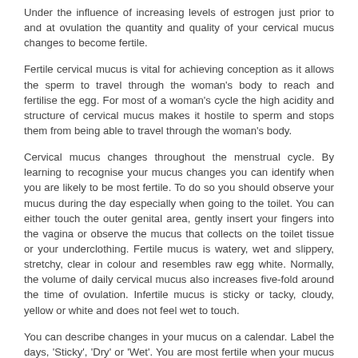Under the influence of increasing levels of estrogen just prior to and at ovulation the quantity and quality of your cervical mucus changes to become fertile.
Fertile cervical mucus is vital for achieving conception as it allows the sperm to travel through the woman's body to reach and fertilise the egg. For most of a woman's cycle the high acidity and structure of cervical mucus makes it hostile to sperm and stops them from being able to travel through the woman's body.
Cervical mucus changes throughout the menstrual cycle. By learning to recognise your mucus changes you can identify when you are likely to be most fertile. To do so you should observe your mucus during the day especially when going to the toilet. You can either touch the outer genital area, gently insert your fingers into the vagina or observe the mucus that collects on the toilet tissue or your underclothing. Fertile mucus is watery, wet and slippery, stretchy, clear in colour and resembles raw egg white. Normally, the volume of daily cervical mucus also increases five-fold around the time of ovulation. Infertile mucus is sticky or tacky, cloudy, yellow or white and does not feel wet to touch.
You can describe changes in your mucus on a calendar. Label the days, 'Sticky', 'Dry' or 'Wet'. You are most fertile when your mucus is wet. The last day of wet mucus is for most women the day after ovulation and is